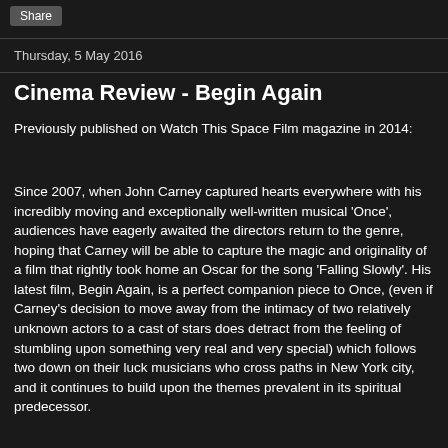Share
Thursday, 5 May 2016
Cinema Review - Begin Again
Previously published on Watch This Space Film magazine in 2014:
Since 2007, when John Carney captured hearts everywhere with his incredibly moving and exceptionally well-written musical 'Once', audiences have eagerly awaited the directors return to the genre, hoping that Carney will be able to capture the magic and originality of a film that rightly took home an Oscar for the song 'Falling Slowly'. His latest film, Begin Again, is a perfect companion piece to Once, (even if Carney's decision to move away from the intimacy of two relatively unknown actors to a cast of stars does detract from the feeling of stumbling upon something very real and very special) which follows two down on their luck musicians who cross paths in New York city, and it continues to build upon the themes prevalent in its spiritual predecessor.